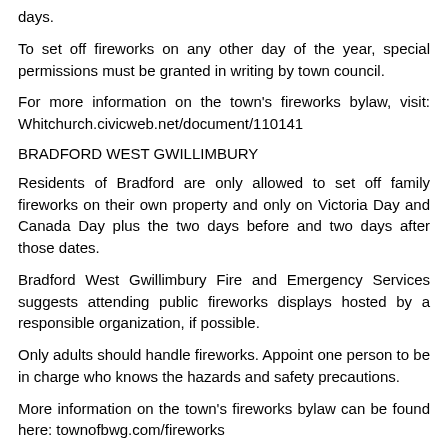days.
To set off fireworks on any other day of the year, special permissions must be granted in writing by town council.
For more information on the town's fireworks bylaw, visit: Whitchurch.civicweb.net/document/110141
BRADFORD WEST GWILLIMBURY
Residents of Bradford are only allowed to set off family fireworks on their own property and only on Victoria Day and Canada Day plus the two days before and two days after those dates.
Bradford West Gwillimbury Fire and Emergency Services suggests attending public fireworks displays hosted by a responsible organization, if possible.
Only adults should handle fireworks. Appoint one person to be in charge who knows the hazards and safety precautions.
More information on the town's fireworks bylaw can be found here: townofbwg.com/fireworks
More information: Safety Tips on how to handle fireworks